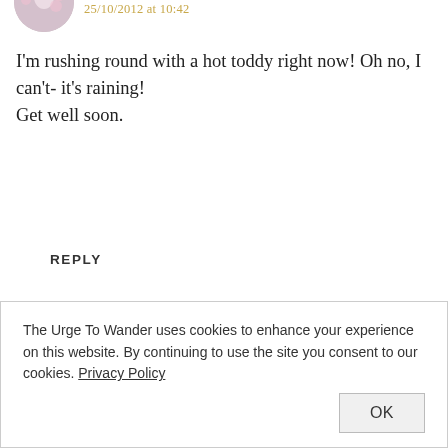[Figure (photo): Circular avatar photo of a commenter, partially cropped at top of page, showing cherry blossoms]
25/10/2012 at 10:42
I'm rushing round with a hot toddy right now! Oh no, I can't- it's raining!
Get well soon.
REPLY
[Figure (photo): Circular avatar photo of Madhu, a person holding a camera, wearing sunglasses]
MADHU
25/10/2012 at 10:42
The Urge To Wander uses cookies to enhance your experience on this website. By continuing to use the site you consent to our cookies. Privacy Policy